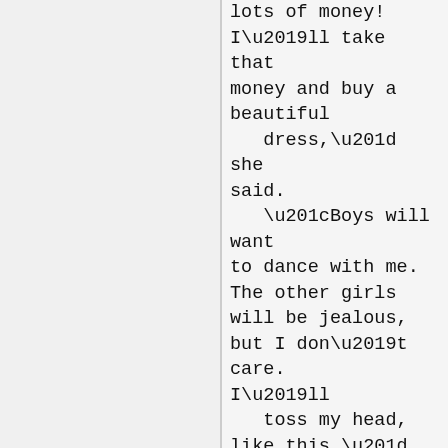lots of money! I'll take that money and buy a beautiful
   dress,” she said.
   “Boys will want to dance with me. The other girls will be jealous, but I don’t care. I’ll
   toss my head, like this.”
        As she spoke, she tossed her head. The bucket fell off her head, and all the milk spilled on
   the ground. She had to go home and tell her mother what